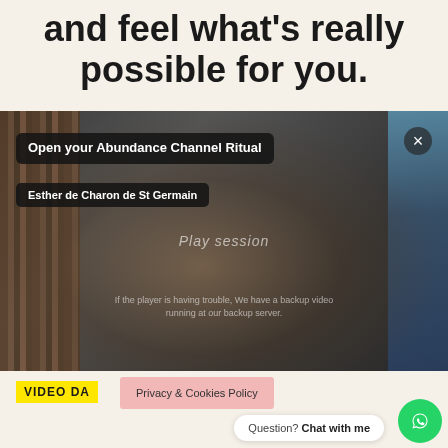and feel what's really possible for you.
[Figure (screenshot): Video player screenshot showing 'Open your Abundance Channel Ritual' by Esther de Charon de St Germain, with a woman wearing glasses visible in the background with bookshelves, a close button (×) in the top right, and a play button overlay]
VIDEO DA
Privacy & Cookies Policy
Question? Chat with me